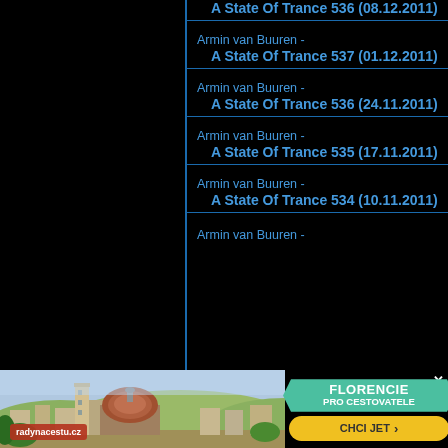Armin van Buuren - A State Of Trance 536 (08.12.2011)
Armin van Buuren - A State Of Trance 537 (01.12.2011)
Armin van Buuren - A State Of Trance 536 (24.11.2011)
Armin van Buuren - A State Of Trance 535 (17.11.2011)
Armin van Buuren - A State Of Trance 534 (10.11.2011)
Armin van Buuren -
[Figure (photo): Advertisement banner showing Florence cathedral skyline with text FLORENCIE PRO CESTOVATELE and CHCI JET button, from radynacestu.cz]